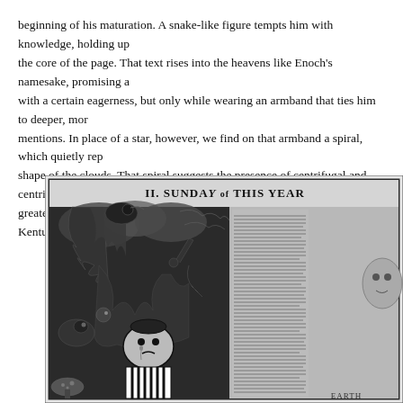beginning of his maturation. A snake-like figure tempts him with knowledge, holding up the core of the page. That text rises into the heavens like Enoch's namesake, promising a with a certain eagerness, but only while wearing an armband that ties him to deeper, mo mentions. In place of a star, however, we find on that armband a spiral, which quietly re shape of the clouds. That spiral suggests the presence of centrifugal and centripetal force greater layers of experience, and the inward pull that tethers him to rural Kentucky.
[Figure (illustration): A dense black and white illustration showing a complex scene titled 'II. SUNDAY of THIS YEAR' visible at top. Features intricate pen-and-ink style artwork with figures, a central character in black and white striped clothing with a sad clown-like face, surrounded by swirling clouds, fantastical creatures, foliage, and dense text columns on the right side. Highly detailed crosshatching technique.]